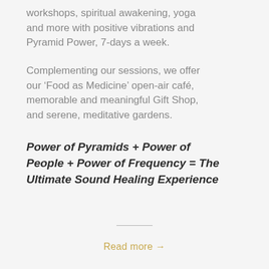workshops, spiritual awakening, yoga and more with positive vibrations and Pyramid Power, 7-days a week.
Complementing our sessions, we offer our ‘Food as Medicine’ open-air café, memorable and meaningful Gift Shop, and serene, meditative gardens.
Power of Pyramids + Power of People + Power of Frequency = The Ultimate Sound Healing Experience
Read more →